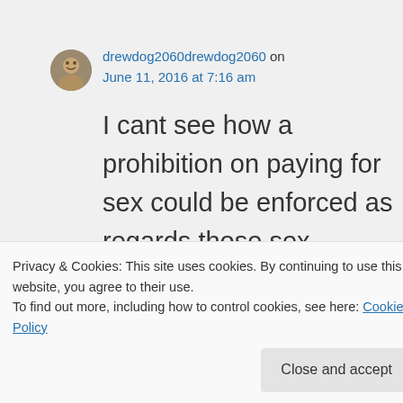drewdog2060drewdog2060 on June 11, 2016 at 7:16 am
I cant see how a prohibition on paying for sex could be enforced as regards those sex workers/escorts who see clients in their own homes. Most agencies use wording on their sites to the effect of
Privacy & Cookies: This site uses cookies. By continuing to use this website, you agree to their use.
To find out more, including how to control cookies, see here: Cookie Policy
Close and accept